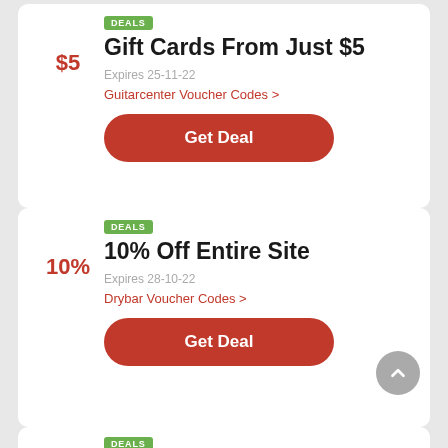Gift Cards From Just $5
$5
Expires 25-11-22
Guitarcenter Voucher Codes >
Get Deal
10% Off Entire Site
10%
Expires 28-10-22
Drybar Voucher Codes >
Get Deal